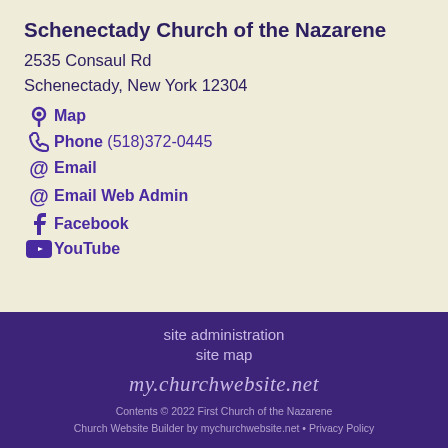Schenectady Church of the Nazarene
2535 Consaul Rd
Schenectady, New York 12304
Map
Phone (518)372-0445
Email
Email Web Admin
Facebook
YouTube
site administration
site map
my.churchwebsite.net
Contents © 2022 First Church of the Nazarene
Church Website Builder by mychurchwebsite.net • Privacy Policy
Install this web app on your device: tap and then Add to Home Screen